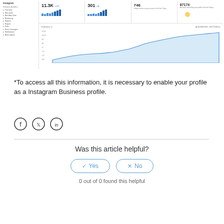[Figure (screenshot): Instagram Business profile analytics dashboard showing sidebar navigation, stats cards with 11.3K, 301, 746, 87174 metrics, bar charts, and a followers area line chart rising over time.]
*To access all this information, it is necessary to enable your profile as a Instagram Business profile.
[Figure (infographic): Social sharing icons: Facebook, Twitter, LinkedIn in circle outlines]
Was this article helpful?
Yes  No
0 out of 0 found this helpful